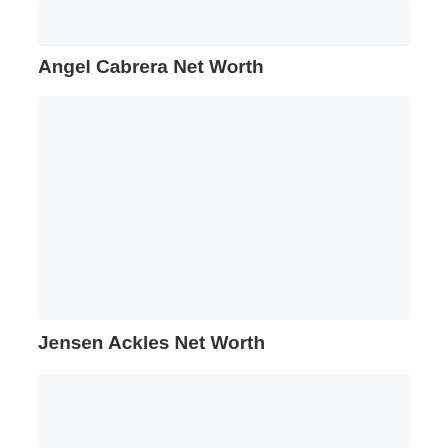[Figure (other): Placeholder image box at top]
Angel Cabrera Net Worth
[Figure (other): Large placeholder image box]
Jensen Ackles Net Worth
[Figure (other): Placeholder image box at bottom]